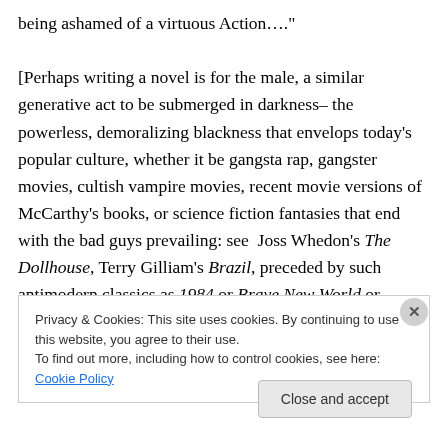being ashamed of a virtuous Action…."

[Perhaps writing a novel is for the male, a similar generative act to be submerged in darkness– the powerless, demoralizing blackness that envelops today's popular culture, whether it be gangsta rap, gangster movies, cultish vampire movies, recent movie versions of McCarthy's books, or science fiction fantasies that end with the bad guys prevailing: see  Joss Whedon's The Dollhouse, Terry Gilliam's Brazil, preceded by such antimodern classics as 1984 or Brave New World or
Privacy & Cookies: This site uses cookies. By continuing to use this website, you agree to their use.
To find out more, including how to control cookies, see here: Cookie Policy